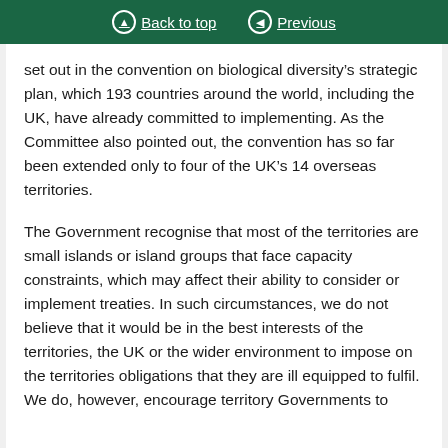Back to top | Previous
set out in the convention on biological diversity’s strategic plan, which 193 countries around the world, including the UK, have already committed to implementing. As the Committee also pointed out, the convention has so far been extended only to four of the UK’s 14 overseas territories.
The Government recognise that most of the territories are small islands or island groups that face capacity constraints, which may affect their ability to consider or implement treaties. In such circumstances, we do not believe that it would be in the best interests of the territories, the UK or the wider environment to impose on the territories obligations that they are ill equipped to fulfil. We do, however, encourage territory Governments to